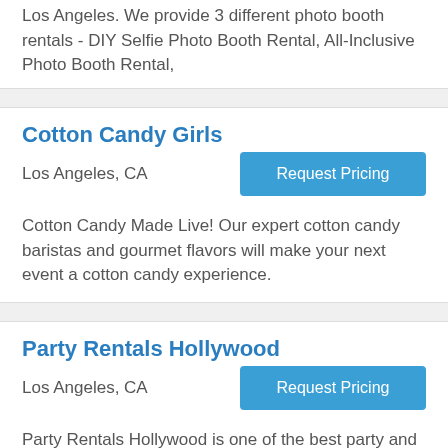Los Angeles. We provide 3 different photo booth rentals - DIY Selfie Photo Booth Rental, All-Inclusive Photo Booth Rental,
Cotton Candy Girls
Los Angeles, CA
Request Pricing
Cotton Candy Made Live! Our expert cotton candy baristas and gourmet flavors will make your next event a cotton candy experience.
Party Rentals Hollywood
Los Angeles, CA
Request Pricing
Party Rentals Hollywood is one of the best party and event